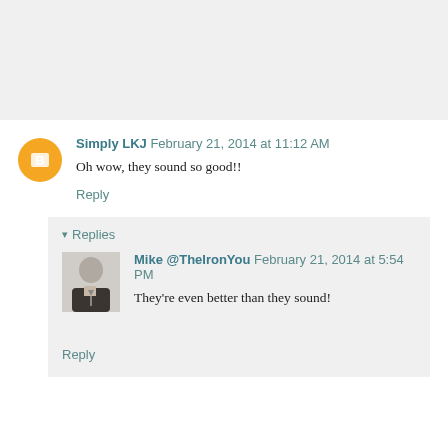Simply LKJ February 21, 2014 at 11:12 AM
Oh wow, they sound so good!!
Reply
▾ Replies
[Figure (photo): Profile photo of Mike @TheIronYou, black and white photo of a man in a suit]
Mike @TheIronYou February 21, 2014 at 5:54 PM
They're even better than they sound!
Reply